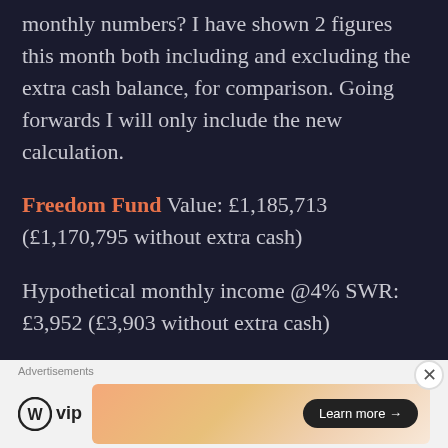monthly numbers? I have shown 2 figures this month both including and excluding the extra cash balance, for comparison. Going forwards I will only include the new calculation.
Freedom Fund Value: £1,185,713 (£1,170,795 without extra cash)
Hypothetical monthly income @4% SWR: £3,952 (£3,903 without extra cash)
Actual monthly expenses: £2003*
Finally, our monthly expenses have
Advertisements